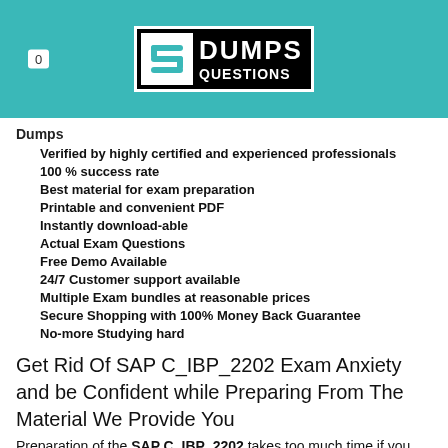[Figure (logo): DumpsQuestions logo with stylized S icon on teal header background, with 0 badge on left]
Dumps
Verified by highly certified and experienced professionals
100 % success rate
Best material for exam preparation
Printable and convenient PDF
Instantly download-able
Actual Exam Questions
Free Demo Available
24/7 Customer support available
Multiple Exam bundles at reasonable prices
Secure Shopping with 100% Money Back Guarantee
No-more Studying hard
Get Rid Of SAP C_IBP_2202 Exam Anxiety and be Confident while Preparing From The Material We Provide You
Preparation of the SAP C_IBP_2202 takes too much time if you prepare from the material recommended by SAP or